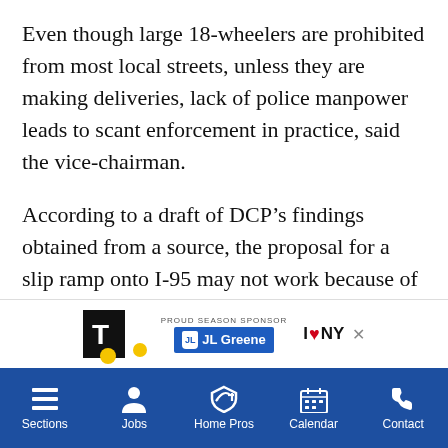Even though large 18-wheelers are prohibited from most local streets, unless they are making deliveries, lack of police manpower leads to scant enforcement in practice, said the vice-chairman.
According to a draft of DCP’s findings obtained from a source, the proposal for a slip ramp onto I-95 may not work because of the presence of columns, grading and insufficient distance for accelerating onto the highway, but could work as a ramp or lane from the “Hutchinson River Parkway northbound service road at Lafayette Avenue leading motorists to the Bruckner Expressway lanes.”
[Figure (screenshot): Advertisement bar with newspaper logo, JL Greene proud season sponsor logo, and I Love NY logo with a close button]
Sections | Jobs | Home Pros | Calendar | Contact